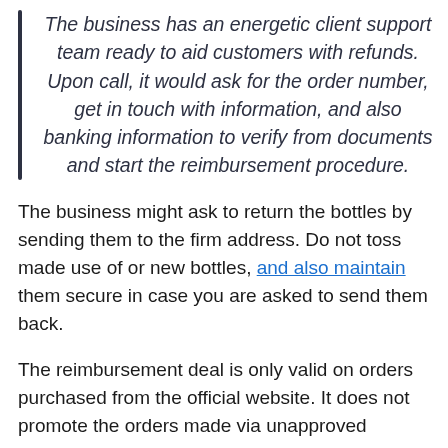The business has an energetic client support team ready to aid customers with refunds. Upon call, it would ask for the order number, get in touch with information, and also banking information to verify from documents and start the reimbursement procedure.
The business might ask to return the bottles by sending them to the firm address. Do not toss made use of or new bottles, and also maintain them secure in case you are asked to send them back.
The reimbursement deal is only valid on orders purchased from the official website. It does not promote the orders made via unapproved sources.